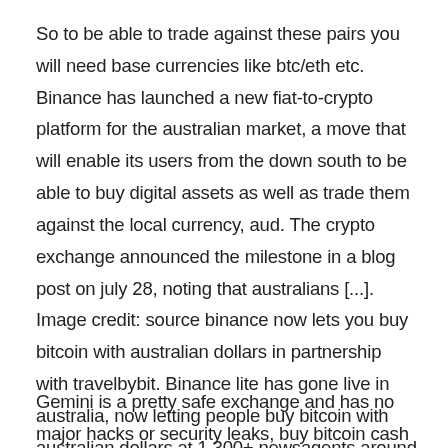So to be able to trade against these pairs you will need base currencies like btc/eth etc. Binance has launched a new fiat-to-crypto platform for the australian market, a move that will enable its users from the down south to be able to buy digital assets as well as trade them against the local currency, aud. The crypto exchange announced the milestone in a blog post on july 28, noting that australians [...]. Image credit: source binance now lets you buy bitcoin with australian dollars in partnership with travelbybit. Binance lite has gone live in australia, now letting people buy bitcoin with australian dollars at 1,300+ newsagents around australia. This has already been possible for over a year, but it's a bit different when binance does it Как снять деньги с binance
Gemini is a pretty safe exchange and has no major hacks or security leaks, buy bitcoin cash io. Funds on the exchange are FDIC